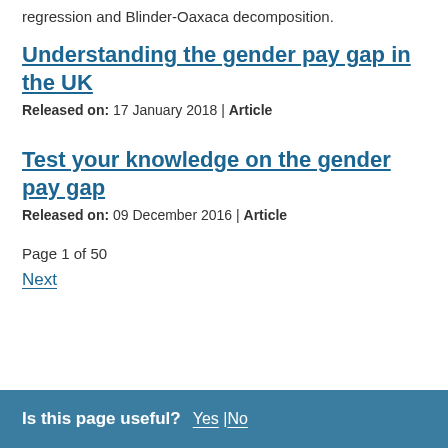regression and Blinder-Oaxaca decomposition.
Understanding the gender pay gap in the UK
Released on: 17 January 2018 | Article
Test your knowledge on the gender pay gap
Released on: 09 December 2016 | Article
Page 1 of 50
Next
Is this page useful? Yes | No